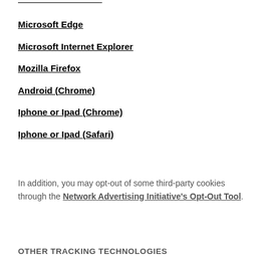Microsoft Edge
Microsoft Internet Explorer
Mozilla Firefox
Android (Chrome)
Iphone or Ipad (Chrome)
Iphone or Ipad (Safari)
In addition, you may opt-out of some third-party cookies through the Network Advertising Initiative's Opt-Out Tool.
OTHER TRACKING TECHNOLOGIES